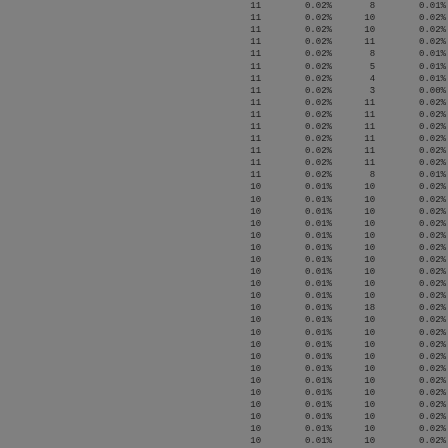| 11 | 0.02% | 8 | 0.01% |
| 11 | 0.02% | 10 | 0.02% |
| 11 | 0.02% | 10 | 0.02% |
| 11 | 0.02% | 11 | 0.02% |
| 11 | 0.02% | 8 | 0.01% |
| 11 | 0.02% | 5 | 0.01% |
| 11 | 0.02% | 4 | 0.01% |
| 11 | 0.02% | 3 | 0.00% |
| 11 | 0.02% | 11 | 0.02% |
| 11 | 0.02% | 11 | 0.02% |
| 11 | 0.02% | 11 | 0.02% |
| 11 | 0.02% | 11 | 0.02% |
| 11 | 0.02% | 11 | 0.02% |
| 11 | 0.02% | 11 | 0.02% |
| 11 | 0.02% | 8 | 0.01% |
| 10 | 0.01% | 10 | 0.02% |
| 10 | 0.01% | 10 | 0.02% |
| 10 | 0.01% | 10 | 0.02% |
| 10 | 0.01% | 10 | 0.02% |
| 10 | 0.01% | 10 | 0.02% |
| 10 | 0.01% | 10 | 0.02% |
| 10 | 0.01% | 10 | 0.02% |
| 10 | 0.01% | 10 | 0.02% |
| 10 | 0.01% | 10 | 0.02% |
| 10 | 0.01% | 10 | 0.02% |
| 10 | 0.01% | 18 | 0.02% |
| 10 | 0.01% | 10 | 0.02% |
| 10 | 0.01% | 10 | 0.02% |
| 10 | 0.01% | 10 | 0.02% |
| 10 | 0.01% | 10 | 0.02% |
| 10 | 0.01% | 10 | 0.02% |
| 10 | 0.01% | 10 | 0.02% |
| 10 | 0.01% | 10 | 0.02% |
| 10 | 0.01% | 10 | 0.02% |
| 10 | 0.01% | 10 | 0.02% |
| 10 | 0.01% | 10 | 0.02% |
| 10 | 0.01% | 10 | 0.02% |
| 10 | 0.01% | 10 | 0.02% |
| 10 | 0.01% | 10 | 0.02% |
| 10 | 0.01% | 10 | 0.02% |
| 10 | 0.01% | 10 | 0.02% |
| 10 | 0.01% | 10 | 0.02% |